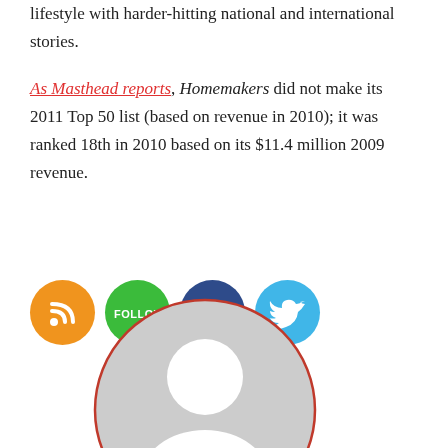lifestyle with harder-hitting national and international stories.
As Masthead reports, Homemakers did not make its 2011 Top 50 list (based on revenue in 2010); it was ranked 18th in 2010 based on its $11.4 million 2009 revenue.
[Figure (infographic): Four social media icon buttons: RSS (orange), Follow (green), Facebook (dark blue), Twitter (light blue)]
[Figure (illustration): Generic user avatar placeholder - grey silhouette of a person inside a circle with a red border]